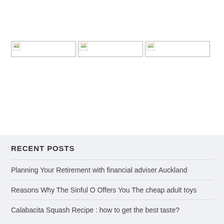[Figure (photo): Three broken/unloaded image placeholders in a row with small image icons in top-left corners]
RECENT POSTS
Planning Your Retirement with financial adviser Auckland
Reasons Why The Sinful O Offers You The cheap adult toys
Calabacita Squash Recipe : how to get the best taste?